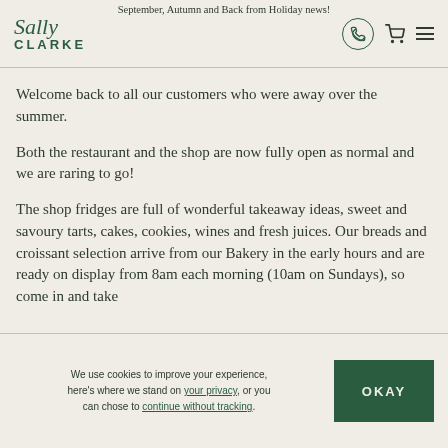September, Autumn and Back from Holiday news!
[Figure (logo): Sally Clarke logo in dark green with italic script 'Sally' above bold capitals 'CLARKE']
Welcome back to all our customers who were away over the summer.
Both the restaurant and the shop are now fully open as normal and we are raring to go!
The shop fridges are full of wonderful takeaway ideas, sweet and savoury tarts, cakes, cookies, wines and fresh juices. Our breads and croissant selection arrive from our Bakery in the early hours and are ready on display from 8am each morning (10am on Sundays), so come in and take
We use cookies to improve your experience, here's where we stand on your privacy, or you can chose to continue without tracking.